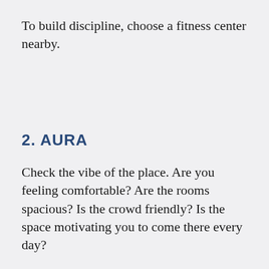To build discipline, choose a fitness center nearby.
2. AURA
Check the vibe of the place. Are you feeling comfortable? Are the rooms spacious? Is the crowd friendly? Is the space motivating you to come there every day?